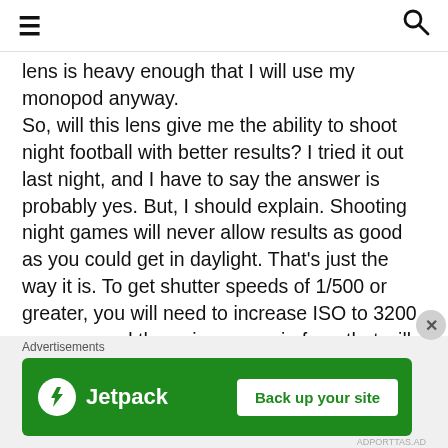≡ [hamburger menu] [search icon]
lens is heavy enough that I will use my monopod anyway.
So, will this lens give me the ability to shoot night football with better results? I tried it out last night, and I have to say the answer is probably yes. But, I should explain. Shooting night games will never allow results as good as you could get in daylight. That's just the way it is. To get shutter speeds of 1/500 or greater, you will need to increase ISO to 3200 or more, and the noise you gain from that will be difficult to overcome in your images. Plus, the shadows that night lighting creates will
[Figure (screenshot): Jetpack advertisement banner with green background, Jetpack logo on the left and 'Back up your site' button on the right]